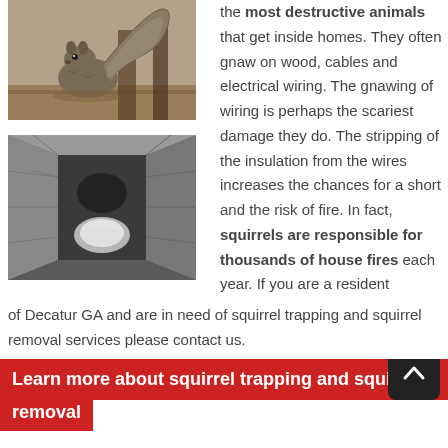[Figure (photo): A squirrel photographed indoors, possibly in an attic, with fluffy tail visible]
[Figure (photo): A dark tunnel or duct interior with what appears to be nesting material inside]
the most destructive animals that get inside homes. They often gnaw on wood, cables and electrical wiring. The gnawing of wiring is perhaps the scariest damage they do. The stripping of the insulation from the wires increases the chances for a short and the risk of fire. In fact, squirrels are responsible for thousands of house fires each year. If you are a resident of Decatur GA and are in need of squirrel trapping and squirrel removal services please contact us.
Learn more about squirrel trapping and squirrel removal